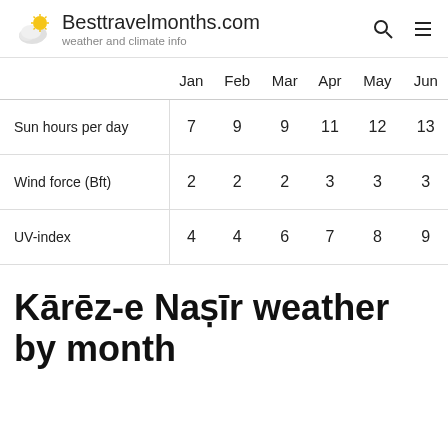Besttravelmonths.com — weather and climate info
|  | Jan | Feb | Mar | Apr | May | Jun |
| --- | --- | --- | --- | --- | --- | --- |
| Sun hours per day | 7 | 9 | 9 | 11 | 12 | 13 |
| Wind force (Bft) | 2 | 2 | 2 | 3 | 3 | 3 |
| UV-index | 4 | 4 | 6 | 7 | 8 | 9 |
Kārēz-e Naṣīr weather by month